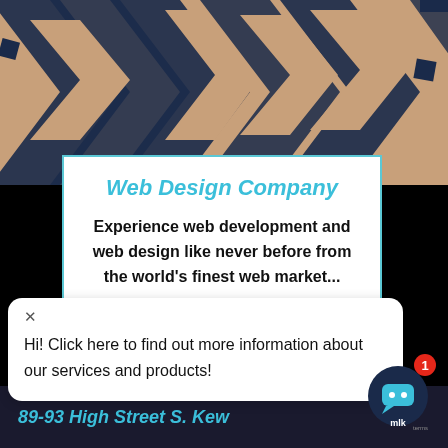[Figure (illustration): Geometric chevron/arrow pattern background in dark blue and tan/orange colors]
Web Design Company
Experience web development and web design like never before from the world's finest web market...
READ MORE
Hi! Click here to find out more information about our services and products!
89-93 High Street S. Kew
[Figure (illustration): Chat widget icon (dark circle with speech bubble icon) with red notification badge showing 1, and mlk branding below]